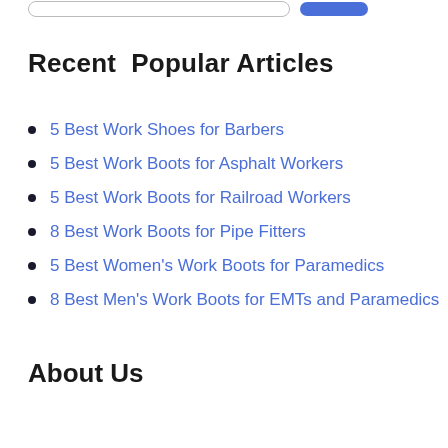Recent  Popular Articles
5 Best Work Shoes for Barbers
5 Best Work Boots for Asphalt Workers
5 Best Work Boots for Railroad Workers
8 Best Work Boots for Pipe Fitters
5 Best Women's Work Boots for Paramedics
8 Best Men's Work Boots for EMTs and Paramedics
About Us